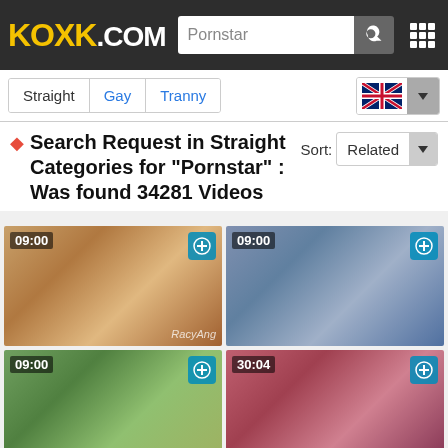KOXK.COM — Pornstar search bar, navigation
Straight | Gay | Tranny
Search Request in Straight Categories for "Pornstar" : Was found 34281 Videos
[Figure (photo): Video thumbnail 1, duration 09:00]
[Figure (photo): Video thumbnail 2, duration 09:00]
[Figure (photo): Video thumbnail 3, duration 09:00]
[Figure (photo): Video thumbnail 4, duration 30:04]